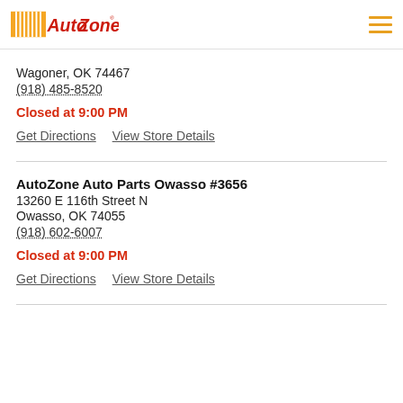[Figure (logo): AutoZone logo with orange stripe and red/white text]
Wagoner, OK 74467
(918) 485-8520
Closed at 9:00 PM
Get Directions   View Store Details
AutoZone Auto Parts Owasso #3656
13260 E 116th Street N
Owasso, OK 74055
(918) 602-6007
Closed at 9:00 PM
Get Directions   View Store Details